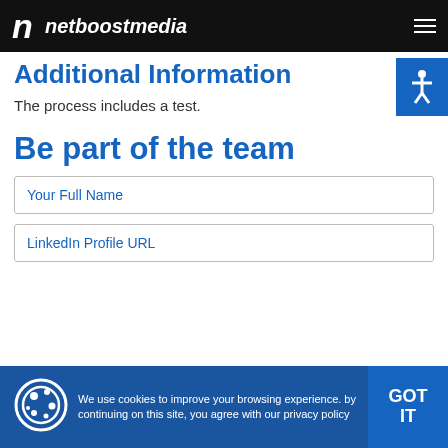netboostmedia
Additional Information
The process includes a test.
Be part of the team
Your Full Name
LinkedIn Profile URL
We use cookies to improve your browsing experience. by continuing on this site, you agree with our privacy policy